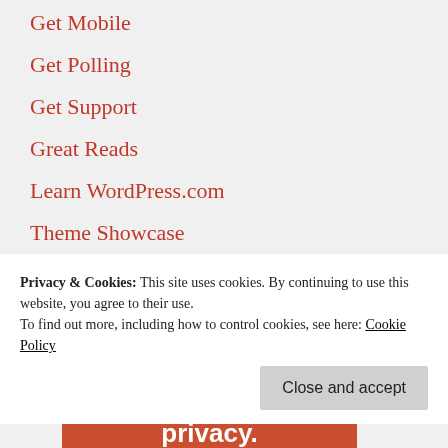Get Mobile
Get Polling
Get Support
Great Reads
Learn WordPress.com
Theme Showcase
WordPress.com News
Advertisements
[Figure (other): Orange advertisement banner with white bold text reading 'Search.']
Privacy & Cookies: This site uses cookies. By continuing to use this website, you agree to their use.
To find out more, including how to control cookies, see here: Cookie Policy
Close and accept
[Figure (other): Orange advertisement banner with white bold text reading 'privacy.']